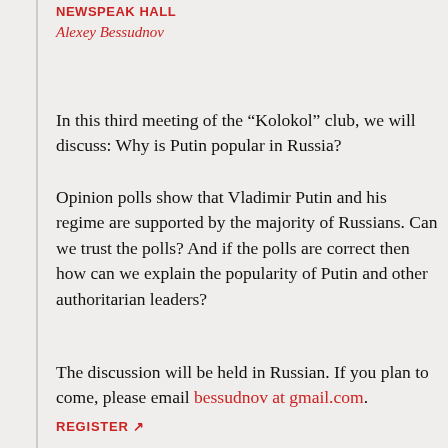NEWSPEAK HALL
Alexey Bessudnov
In this third meeting of the “Kolokol” club, we will discuss: Why is Putin popular in Russia?
Opinion polls show that Vladimir Putin and his regime are supported by the majority of Russians. Can we trust the polls? And if the polls are correct then how can we explain the popularity of Putin and other authoritarian leaders?
The discussion will be held in Russian. If you plan to come, please email bessudnov at gmail.com.
REGISTER ↗